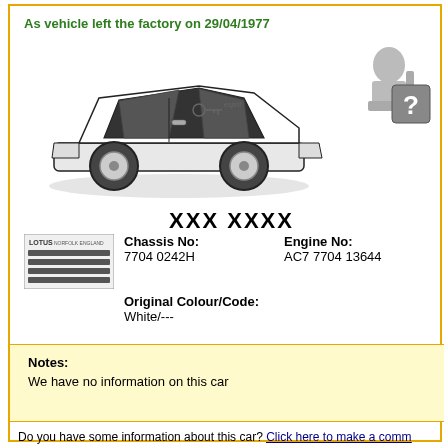As vehicle left the factory on 29/04/1977
[Figure (illustration): Side-view illustration of a white Lotus Esprit sports car with a key icon near the driver area]
[Figure (illustration): Person silhouette with a question mark icon (help/unknown owner indicator)]
XXX XXXX
[Figure (illustration): Lotus badge/grille image showing LOTUS NORFOLK ENGLAND text with horizontal grille bars]
Chassis No: 7704 0242H
Engine No: AC7 7704 13644
Original Colour/Code: White/---
Notes:
We have no information on this car
Do you have some information about this car? Click here to make a comm